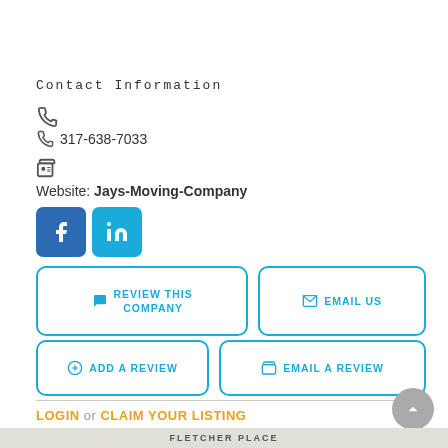Contact Information
(phone icon)
317-638-7033
(fax icon)
Website: Jays-Moving-Company
[Figure (logo): Facebook and LinkedIn social media icon buttons]
REVIEW THIS COMPANY
EMAIL US
ADD A REVIEW
EMAIL A REVIEW
LOGIN or CLAIM YOUR LISTING
Maps and Directions
[Figure (map): Map showing Fletcher Place area]